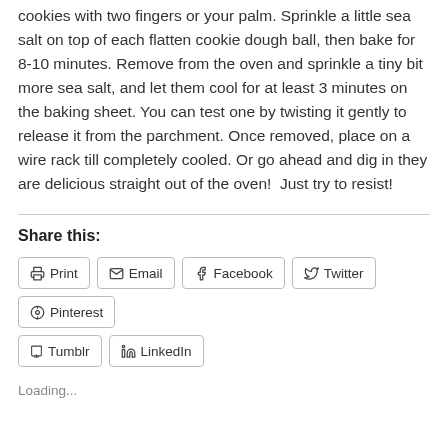cookies with two fingers or your palm. Sprinkle a little sea salt on top of each flatten cookie dough ball, then bake for 8-10 minutes. Remove from the oven and sprinkle a tiny bit more sea salt, and let them cool for at least 3 minutes on the baking sheet. You can test one by twisting it gently to release it from the parchment. Once removed, place on a wire rack till completely cooled. Or go ahead and dig in they are delicious straight out of the oven!  Just try to resist!
Share this:
Print | Email | Facebook | Twitter | Pinterest | Tumblr | LinkedIn
Loading...